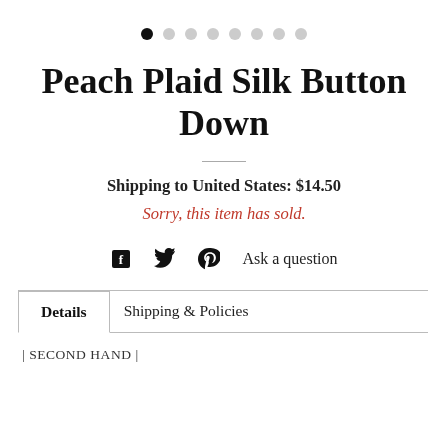[Figure (other): Carousel dot indicators: 1 filled black dot followed by 7 light gray dots]
Peach Plaid Silk Button Down
Shipping to United States: $14.50
Sorry, this item has sold.
[Figure (infographic): Social sharing icons: Facebook (f), Twitter bird, Pinterest (P), and 'Ask a question' link]
Details | Shipping & Policies
| SECOND HAND |